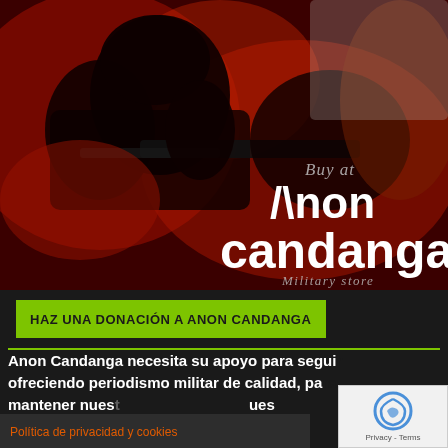[Figure (photo): Dark red-toned image of a military soldier with a weapon aiming, overlaid with text 'Buy at Anon candanga Military store']
HAZ UNA DONACIÓN A ANON CANDANGA
Anon Candanga necesita su apoyo para seguir ofreciendo periodismo militar de calidad, para mantener nues... nuest... preciosa indep... ...ón del